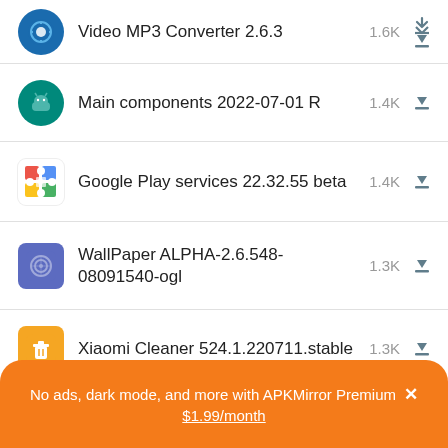Video MP3 Converter 2.6.3  1.6K
Main components 2022-07-01 R  1.4K
Google Play services 22.32.55 beta  1.4K
WallPaper ALPHA-2.6.548-08091540-ogl  1.3K
Xiaomi Cleaner 524.1.220711.stable  1.3K
Samsung Messages 13.1.22.1  1.1K
No ads, dark mode, and more with APKMirror Premium ×
$1.99/month